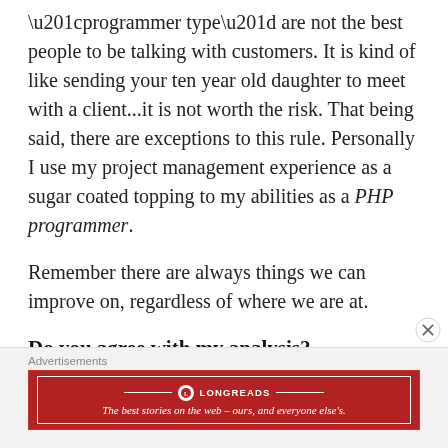“programmer type” are not the best people to be talking with customers. It is kind of like sending your ten year old daughter to meet with a client…it is not worth the risk. That being said, there are exceptions to this rule. Personally I use my project management experience as a sugar coated topping to my abilities as a PHP programmer.
Remember there are always things we can improve on, regardless of where we are at.
Do you agree with my analysis?
[Figure (other): Longreads advertisement banner: red background with white border, Longreads logo (circle with L icon), text 'The best stories on the web – ours, and everyone else’s.']